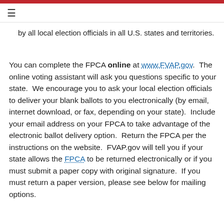≡
by all local election officials in all U.S. states and territories.
You can complete the FPCA online at www.FVAP.gov.  The online voting assistant will ask you questions specific to your state.  We encourage you to ask your local election officials to deliver your blank ballots to you electronically (by email, internet download, or fax, depending on your state).  Include your email address on your FPCA to take advantage of the electronic ballot delivery option.  Return the FPCA per the instructions on the website.  FVAP.gov will tell you if your state allows the FPCA to be returned electronically or if you must submit a paper copy with original signature.  If you must return a paper version, please see below for mailing options.